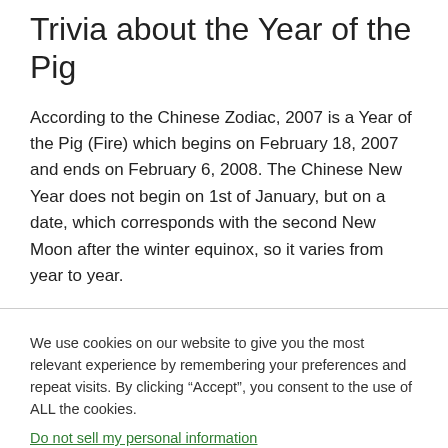Trivia about the Year of the Pig
According to the Chinese Zodiac, 2007 is a Year of the Pig (Fire) which begins on February 18, 2007 and ends on February 6, 2008. The Chinese New Year does not begin on 1st of January, but on a date, which corresponds with the second New Moon after the winter equinox, so it varies from year to year.
We use cookies on our website to give you the most relevant experience by remembering your preferences and repeat visits. By clicking “Accept”, you consent to the use of ALL the cookies.
Do not sell my personal information.
Cookie settings ACCEPT